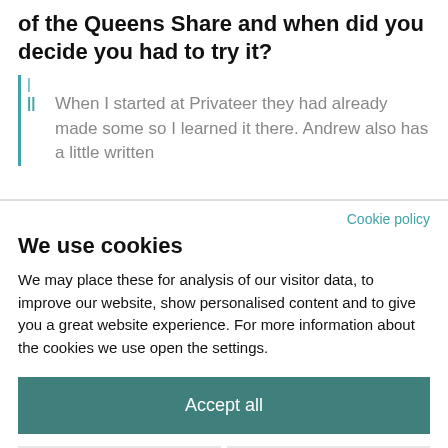How did you first encounter the concept of the Queens Share and when did you decide you had to try it?
When I started at Privateer they had already made some so I learned it there. Andrew also has a little written
Cookie policy
We use cookies
We may place these for analysis of our visitor data, to improve our website, show personalised content and to give you a great website experience. For more information about the cookies we use open the settings.
Accept all
Deny
No, adjust